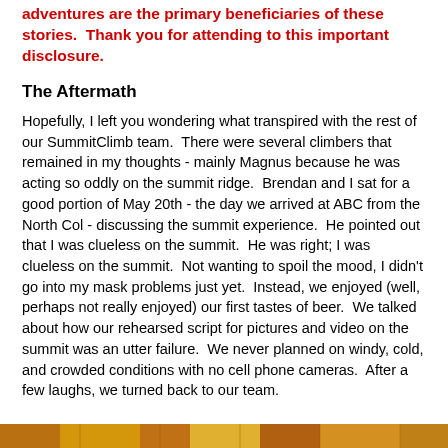adventures are the primary beneficiaries of these stories.  Thank you for attending to this important disclosure.
The Aftermath
Hopefully, I left you wondering what transpired with the rest of our SummitClimb team.  There were several climbers that remained in my thoughts - mainly Magnus because he was acting so oddly on the summit ridge.  Brendan and I sat for a good portion of May 20th - the day we arrived at ABC from the North Col - discussing the summit experience.  He pointed out that I was clueless on the summit.  He was right; I was clueless on the summit.  Not wanting to spoil the mood, I didn't go into my mask problems just yet.  Instead, we enjoyed (well, perhaps not really enjoyed) our first tastes of beer.  We talked about how our rehearsed script for pictures and video on the summit was an utter failure.  We never planned on windy, cold, and crowded conditions with no cell phone cameras.  After a few laughs, we turned back to our team.
[Figure (photo): Partial image strip visible at bottom of page, appears to show outdoor/mountain scene in orange/amber tones]